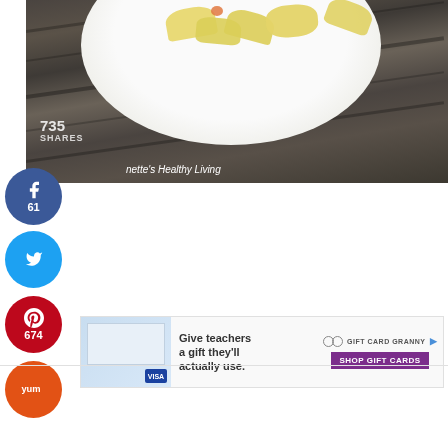[Figure (photo): Photo of bowtie pasta on a white plate on a wooden table background, with a social share overlay showing 735 shares]
735
SHARES
nette's Healthy Living
[Figure (infographic): Facebook share button (blue circle) with count 61]
[Figure (infographic): Twitter share button (light blue circle)]
[Figure (infographic): Pinterest save button (red circle) with count 674]
[Figure (infographic): Yummly share button (orange circle)]
[Figure (infographic): Advertisement: Give teachers a gift they'll actually use. Gift Card Granny - Shop Gift Cards]